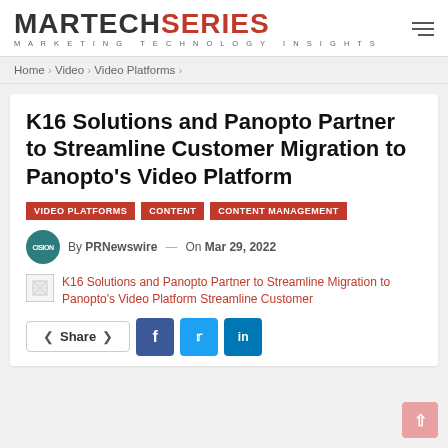MARTECH SERIES — MARKETING TECHNOLOGY INSIGHTS
Home > Video > Video Platforms >
K16 Solutions and Panopto Partner to Streamline Customer Migration to Panopto's Video Platform
VIDEO PLATFORMS  CONTENT  CONTENT MANAGEMENT
By PRNewswire — On Mar 29, 2022
K16 Solutions and Panopto Partner to Streamline Customer Migration to Panopto's Video Platform
Share